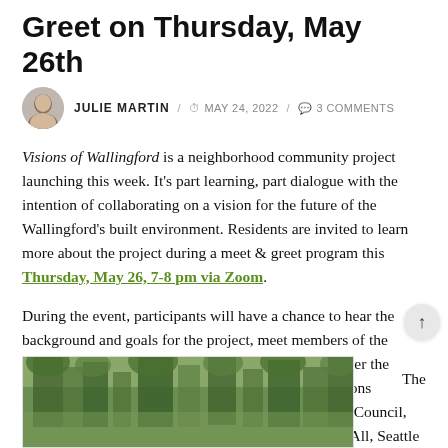Greet on Thursday, May 26th
JULIE MARTIN / MAY 24, 2022 / 3 COMMENTS
Visions of Wallingford is a neighborhood community project launching this week. It's part learning, part dialogue with the intention of collaborating on a vision for the future of the Wallingford's built environment. Residents are invited to learn more about the project during a meet & greet program this Thursday, May 26, 7-8 pm via Zoom.
During the event, participants will have a chance to hear the background and goals for the project, meet members of the project team, and learn about ways to get involved over the upcoming weeks and months. Community organizations represented will include the Wallingford Community Council, Historic Wallingford, Tilth Alliance, Wallingford for All, Seattle Mosaic Arts, and Friends of Meridian Park.
The
[Figure (photo): Photograph of trees/outdoor scene, partially visible at bottom of page]